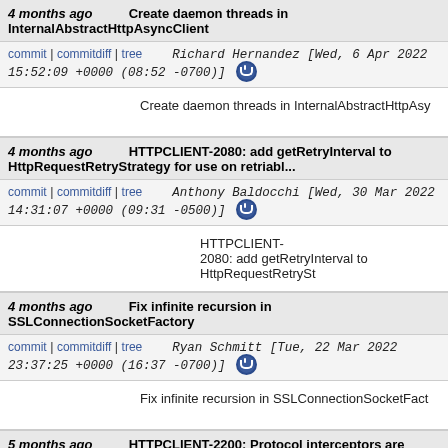4 months ago   Create daemon threads in InternalAbstractHttpAsyncClient
commit | commitdiff | tree   Richard Hernandez [Wed, 6 Apr 2022 15:52:09 +0000 (08:52 -0700)]
Create daemon threads in InternalAbstractHttpAsy
4 months ago   HTTPCLIENT-2080: add getRetryInterval to HttpRequestRetryStrategy for use on retriabl...
commit | commitdiff | tree   Anthony Baldocchi [Wed, 30 Mar 2022 14:31:07 +0000 (09:31 -0500)]
HTTPCLIENT-2080: add getRetryInterval to HttpRequestRetrySt
4 months ago   Fix infinite recursion in SSLConnectionSocketFactory
commit | commitdiff | tree   Ryan Schmitt [Tue, 22 Mar 2022 23:37:25 +0000 (16:37 -0700)]
Fix infinite recursion in SSLConnectionSocketFact
5 months ago   HTTPCLIENT-2200: Protocol interceptors are executed before the connection route has...